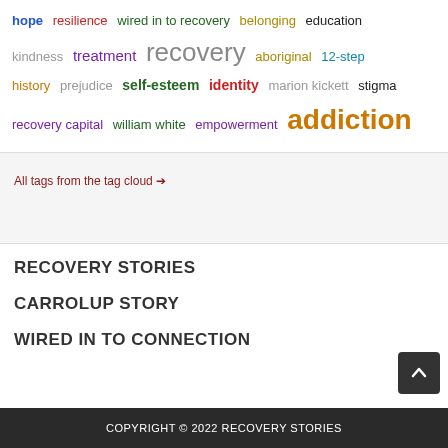[Figure (infographic): Tag cloud with colored keywords related to recovery: hope, resilience, wired in to recovery, belonging, education, kindness, treatment, recovery, aboriginal, 12-step, history, prejudice, self-esteem, identity, marion kickett, stigma, recovery capital, william white, empowerment, addiction]
All tags from the tag cloud →
RECOVERY STORIES
CARROLUP STORY
WIRED IN TO CONNECTION
COPYRIGHT © 2022 RECOVERY STORIES